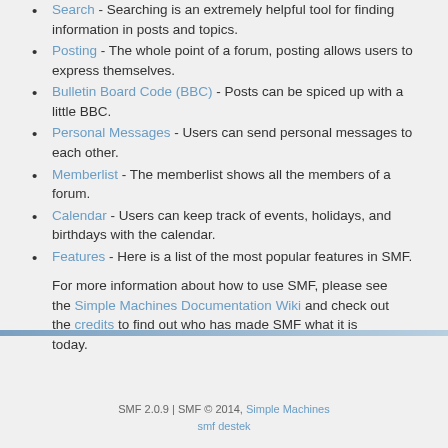Search - Searching is an extremely helpful tool for finding information in posts and topics.
Posting - The whole point of a forum, posting allows users to express themselves.
Bulletin Board Code (BBC) - Posts can be spiced up with a little BBC.
Personal Messages - Users can send personal messages to each other.
Memberlist - The memberlist shows all the members of a forum.
Calendar - Users can keep track of events, holidays, and birthdays with the calendar.
Features - Here is a list of the most popular features in SMF.
For more information about how to use SMF, please see the Simple Machines Documentation Wiki and check out the credits to find out who has made SMF what it is today.
SMF 2.0.9 | SMF © 2014, Simple Machines
smf destek